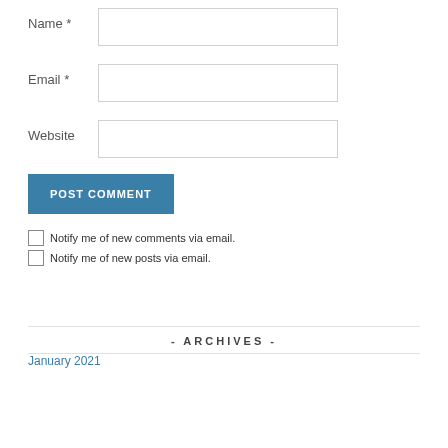Name *
Email *
Website
POST COMMENT
Notify me of new comments via email.
Notify me of new posts via email.
- ARCHIVES -
January 2021